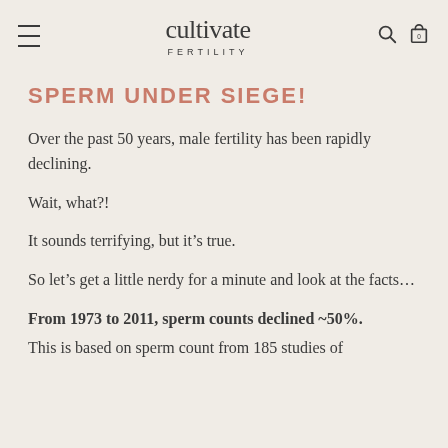cultivate FERTILITY
SPERM UNDER SIEGE!
Over the past 50 years, male fertility has been rapidly declining.
Wait, what?!
It sounds terrifying, but it’s true.
So let’s get a little nerdy for a minute and look at the facts…
From 1973 to 2011, sperm counts declined ~50%.
This is based on sperm count from 185 studies of